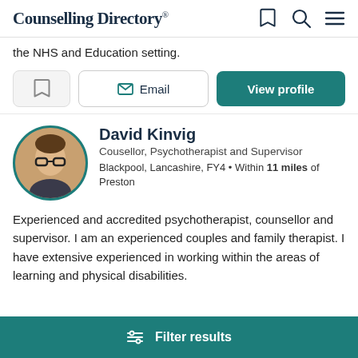Counselling Directory
the NHS and Education setting.
Email | View profile
David Kinvig
Cousellor, Psychotherapist and Supervisor
Blackpool, Lancashire, FY4 • Within 11 miles of Preston
Experienced and accredited psychotherapist, counsellor and supervisor. I am an experienced couples and family therapist. I have extensive experienced in working within the areas of learning and physical disabilities.
Filter results